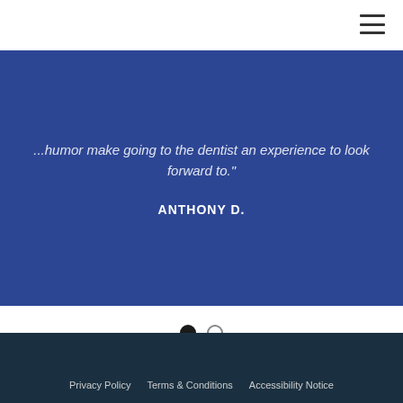...humor make going to the dentist an experience to look forward to."
ANTHONY D.
[Figure (other): Carousel pagination dots: one filled black circle and one empty circle, indicating slide 1 of 2]
Privacy Policy   Terms & Conditions   Accessibility Notice